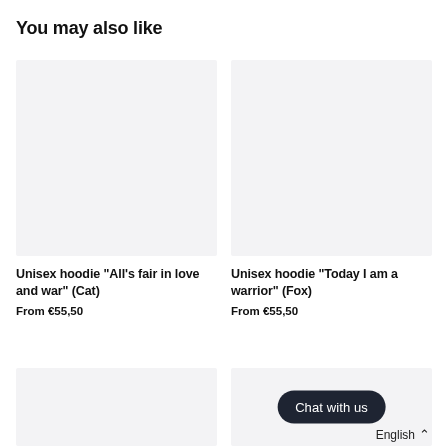You may also like
[Figure (photo): Product image placeholder (light grey rectangle) for Unisex hoodie 'All's fair in love and war' (Cat)]
Unisex hoodie "All's fair in love and war" (Cat)
From €55,50
[Figure (photo): Product image placeholder (light grey rectangle) for Unisex hoodie 'Today I am a warrior' (Fox)]
Unisex hoodie "Today I am a warrior" (Fox)
From €55,50
[Figure (photo): Product image placeholder (light grey rectangle) — bottom left partial card]
[Figure (photo): Product image placeholder (light grey rectangle) — bottom right partial card with Chat with us button overlay]
Chat with us
English ˄